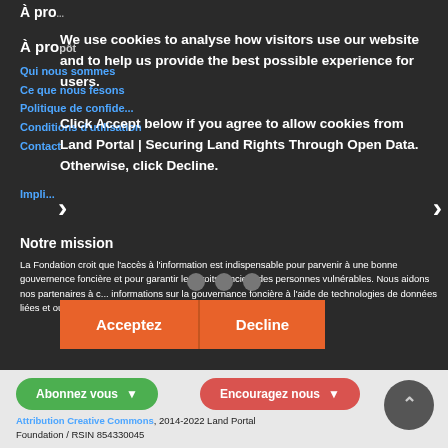À pro...
Qui nous sommes
Ce que nous fesons
Politique de confide...
Conditions d'utilisation
Contact
Impli...
We use cookies to analyse how visitors use our website and to help us provide the best possible experience for users. Click Accept below if you agree to allow cookies from Land Portal | Securing Land Rights Through Open Data. Otherwise, click Decline.
Notre mission
La Fondation croit que l'accès à l'information est indispensable pour parvenir à une bonne gouvernence foncière et pour garantir les droits fonciers des personnes vulnérables. Nous aidons nos partenaires à c... informations sur la gouvernance foncière à l'aide de technologies de données liées et ouvertes.
Abonnez vous ▼
Encouragez nous ▼
Attribution Creative Commons, 2014-2022 Land Portal Foundation / RSIN 854330045